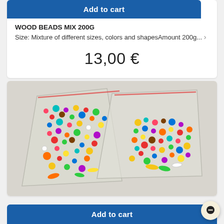Add to cart
WOOD BEADS MIX 200G
Size: Mixture of different sizes, colors and shapesAmount 200g...
13,00 €
[Figure (photo): Two transparent ziplock bags filled with colorful mixed wood beads of various sizes, shapes, and colors including red, yellow, green, blue, white, and black, placed on a light gray surface.]
Add to cart